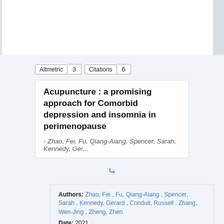[Figure (other): Altmetric badge showing score 3, and Citations count 6]
Acupuncture : a promising approach for Comorbid depression and insomnia in perimenopause
- Zhao, Fei, Fu, Qiang-Aiang, Spencer, Sarah, Kennedy, Ger...
Authors: Zhao, Fei , Fu, Qiang-Aiang , Spencer, Sarah , Kennedy, Gerard , Conduit, Russell , Zhang, Wen-Jing , Zheng, Zhen
Date: 2021
Type: Text , Journal article
Relation: Nature and Science of Sleep Vol. 13, no. (2021), p. 1823-1863
Full Text: ✔